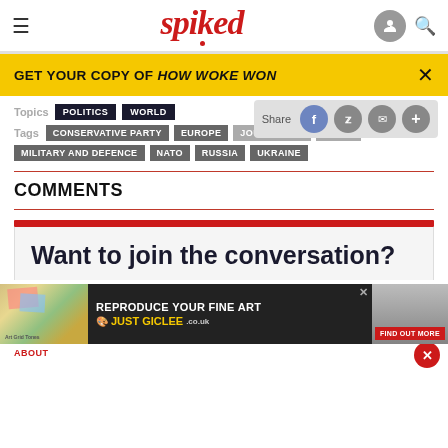spiked
GET YOUR COPY OF HOW WOKE WON
Topics  POLITICS  WORLD
Share
Tags  CONSERVATIVE PARTY  EUROPE  JOURNALISM  MEDIA  MILITARY AND DEFENCE  NATO  RUSSIA  UKRAINE
COMMENTS
Want to join the conversation?
[Figure (screenshot): Advertisement for 'REPRODUCE YOUR FINE ART JUST GICLEE' with colorful art image on left and woman on right, with FIND OUT MORE button]
ABOUT